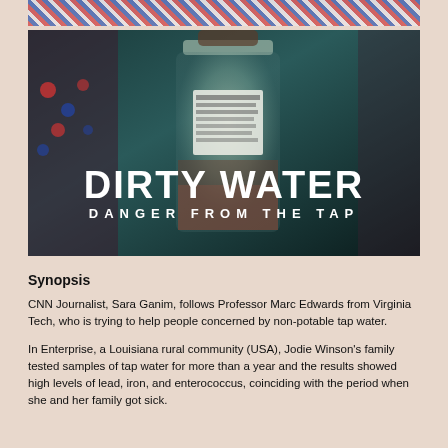[Figure (photo): Partial top image showing colorful patterned fabric or clothing with red and blue dots/hatching, partially cropped at top of page]
[Figure (photo): Movie/documentary promotional image titled 'DIRTY WATER: DANGER FROM THE TAP' showing a glass jar held up with murky water and sediment inside, with a dark teal/blue background]
Synopsis
CNN Journalist, Sara Ganim, follows Professor Marc Edwards from Virginia Tech, who is trying to help people concerned by non-potable tap water.
In Enterprise, a Louisiana rural community (USA), Jodie Winson's family tested samples of tap water for more than a year and the results showed high levels of lead, iron, and enterococcus, coinciding with the period when she and her family got sick.